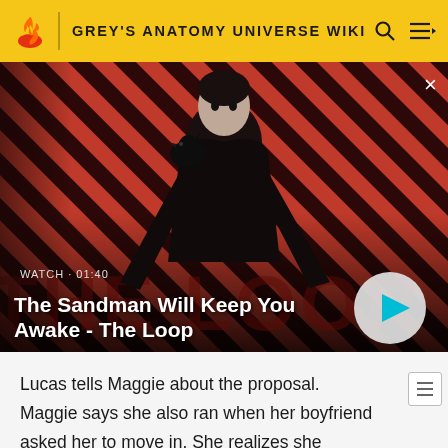GREY'S ANATOMY UNIVERSE WIKI
[Figure (screenshot): Video thumbnail for 'The Sandman Will Keep You Awake - The Loop'. Shows a pale man in dark clothing with a black raven/crow on his shoulder against a diagonal red and dark stripe background. Bottom left shows 'WATCH · 01:40' and the title. A circular play button is at the bottom right. A large semi-transparent 'THE LOOP' text is in the background.]
The Sandman Will Keep You Awake - The Loop
Lucas tells Maggie about the proposal. Maggie says she also ran when her boyfriend asked her to move in. She realizes she doesn't really have a reason not to move in with Jackson.